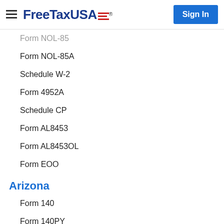FreeTaxUSA — Sign In
Form NOL-85
Form NOL-85A
Schedule W-2
Form 4952A
Schedule CP
Form AL8453
Form AL8453OL
Form EOO
Arizona
Form 140
Form 140PY
Form 140NR
Form 140X
Form 140ES
Schedule A